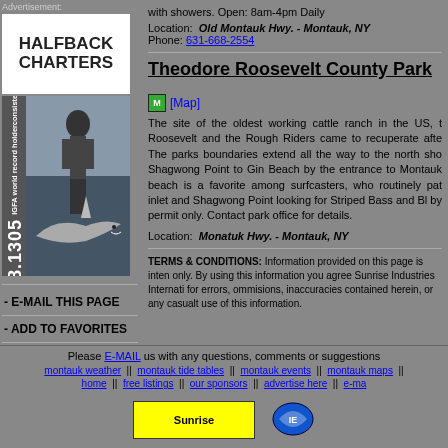[Figure (advertisement): Halfback Charters advertisement with logo text and shark fishing photo, phone number 631.668.1305, 'consistent shark producer IGFA world record holder']
with showers. Open: 8am-4pm Daily
Location: Old Montauk Hwy. - Montauk, NY
Phone: 631-668-2554
Theodore Roosevelt County Park
[Figure (other): Green M map icon with [Map] link text]
The site of the oldest working cattle ranch in the US, the Roosevelt and the Rough Riders came to recuperate after The parks boundaries extend all the way to the north sho Shagwong Point to Gin Beach by the entrance to Montauk beach is a favorite among surfcasters, who routinely pat inlet and Shagwong Point looking for Striped Bass and Bl by permit only. Contact park office for details.
Location: Monatuk Hwy. - Montauk, NY
- E-MAIL THIS PAGE
- ADD TO FAVORITES
- OUR SPONSORS
- FREE LISTINGS
- ADVERTISE HERE
TERMS & CONDITIONS: Information provided on this page is inten only. By using this information you agree Sunrise Industries Internati for errors, ommisions, inaccuracies contained herein, or any casualt use of this information.
Please E-MAIL us with any questions, comments or suggestions
montauk weather || montauk tide tables || montauk events || montauk maps ||
home || free listings || our sponsors || advertise here || e-ma